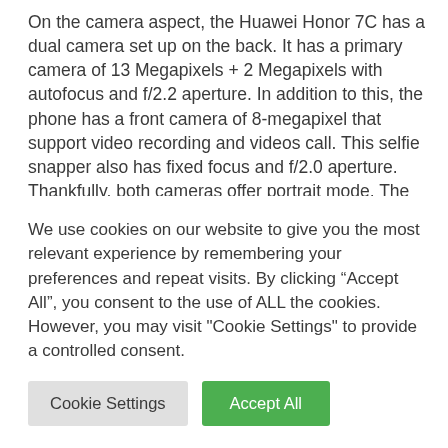On the camera aspect, the Huawei Honor 7C has a dual camera set up on the back. It has a primary camera of 13 Megapixels + 2 Megapixels with autofocus and f/2.2 aperture. In addition to this, the phone has a front camera of 8-megapixel that support video recording and videos call. This selfie snapper also has fixed focus and f/2.0 aperture. Thankfully, both cameras offer portrait mode. The Honor 7C has 32GB or 64GB of inbuilt storage expandable
We use cookies on our website to give you the most relevant experience by remembering your preferences and repeat visits. By clicking “Accept All”, you consent to the use of ALL the cookies. However, you may visit "Cookie Settings" to provide a controlled consent.